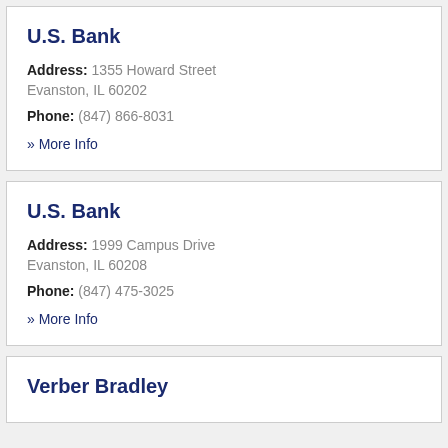U.S. Bank
Address: 1355 Howard Street Evanston, IL 60202
Phone: (847) 866-8031
» More Info
U.S. Bank
Address: 1999 Campus Drive Evanston, IL 60208
Phone: (847) 475-3025
» More Info
Verber Bradley